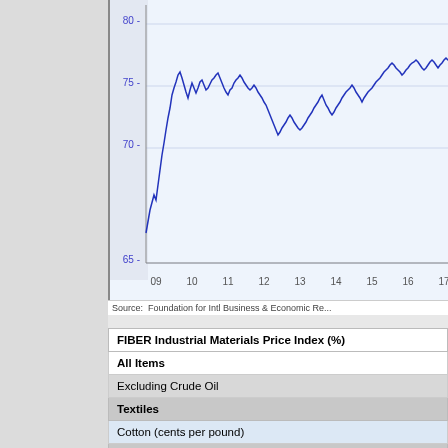[Figure (continuous-plot): Line chart showing FIBER Industrial Materials Price Index values from 2009 to 2017, y-axis ranging from 65 to 80+, with a fluctuating blue line on light blue background.]
Source: Foundation for Intl Business & Economic Re...
| FIBER Industrial Materials Price Index (%) |
| --- |
| All Items |
| Excluding Crude Oil |
| Textiles |
| Cotton (cents per pound) |
| Metals |
| Aluminum ($ per metric ton) |
| Copper Scrap (cents per pound) |
| Steel Scrap ($ per ton) |
| Crude Oil & Benzene |
| Crude Oil (WTI, $ per Barrel) |
| Miscellaneous |
| Framing Lumber ($ per 1000 board ft.) |
| Natural Rubber (cents per pound) |